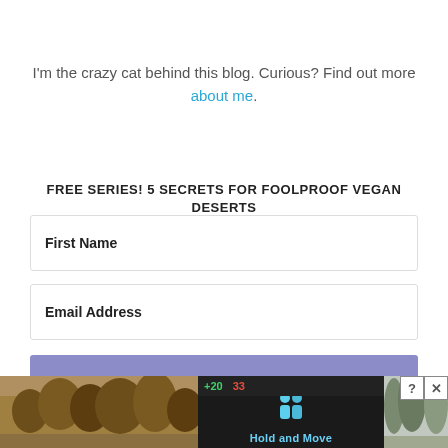I'm the crazy cat behind this blog. Curious? Find out more about me.
FREE SERIES! 5 SECRETS FOR FOOLPROOF VEGAN DESERTS
First Name
Email Address
SIGN ME UP!
[Figure (screenshot): Advertisement banner at bottom showing a mobile game ad 'Hold and Move' with a dark game interface, trees on both sides, and close/help buttons in the top right corner.]